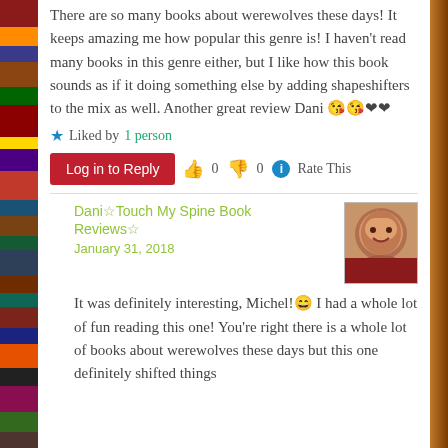There are so many books about werewolves these days! It keeps amazing me how popular this genre is! I haven't read many books in this genre either, but I like how this book sounds as if it doing something else by adding shapeshifters to the mix as well. Another great review Dani 😘😘❤❤
★ Liked by 1 person
Log in to Reply  👍 0 👎 0 ℹ Rate This
Dani☆Touch My Spine Book Reviews☆
January 31, 2018
It was definitely interesting, Michel!😄 I had a whole lot of fun reading this one! You're right there is a whole lot of books about werewolves these days but this one definitely shifted things